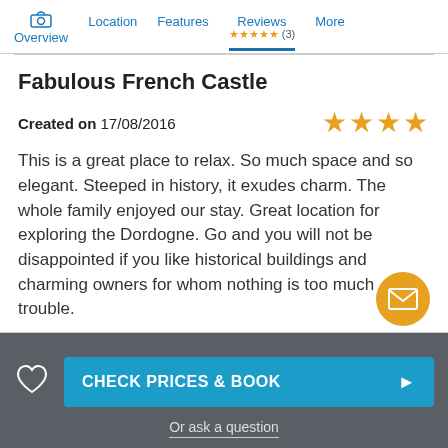Overview | Location | Features | Reviews ★★★★★ (3) | More
Fabulous French Castle
Created on 17/08/2016
This is a great place to relax. So much space and so elegant. Steeped in history, it exudes charm. The whole family enjoyed our stay. Great location for exploring the Dordogne. Go and you will not be disappointed if you like historical buildings and charming owners for whom nothing is too much trouble.
CHECK PRICES & BOOK
Or ask a question